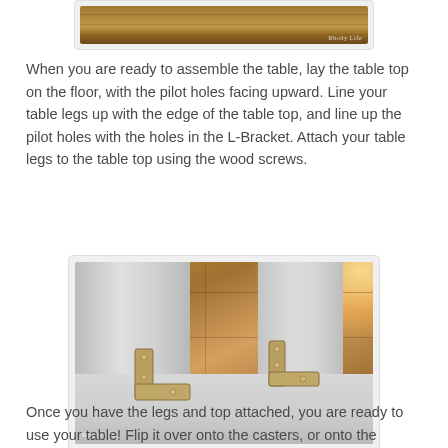[Figure (photo): Partial photo showing a wooden floor/table top surface with 'Rhody Life' watermark in the bottom right corner, cropped at the top of the page.]
When you are ready to assemble the table, lay the table top on the floor, with the pilot holes facing upward.  Line your table legs up with the edge of the table top, and line up the pilot holes with the holes in the L-Bracket.  Attach your table legs to the table top using the wood screws.
[Figure (photo): Photo showing two L-brackets (metal, silver/gold colored) attached to white/gray table boards lying on a wooden floor. The image is taken from above, showing the underside of the table assembly. 'Rhody Life' watermark appears in the bottom left corner.]
Once you have the legs and top attached, you are ready to use your table!  Flip it over onto the casters, or onto the